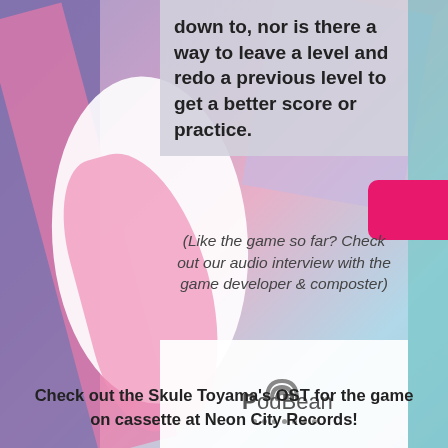down to, nor is there a way to leave a level and redo a previous level to get a better score or practice.
(Like the game so far? Check out our audio interview with the game developer & composter)
[Figure (other): PodBean audio player embed widget with logo and dots]
Check out the Skule Toyama's OST for the game on cassette at Neon City Records!